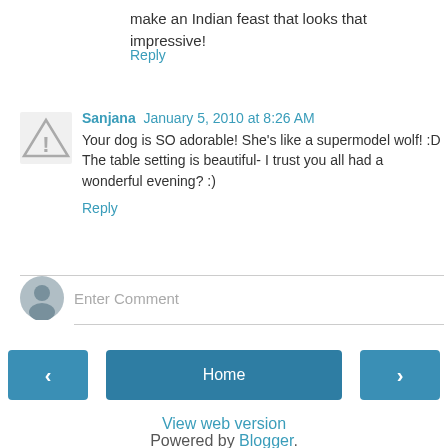make an Indian feast that looks that impressive!
Reply
Sanjana  January 5, 2010 at 8:26 AM
Your dog is SO adorable! She's like a supermodel wolf! :D The table setting is beautiful- I trust you all had a wonderful evening? :)
Reply
Enter Comment
Home
View web version
Powered by Blogger.